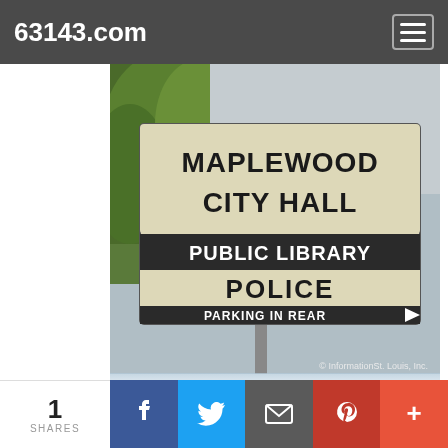63143.com
[Figure (photo): A sign for Maplewood City Hall, Public Library, Police, and Parking in Rear with an arrow. Trees visible in background. Copyright InformationSt. Louis, Inc.]
Maplewood Missouri - The City of Maplewood Missouri is located in Mid St Louis County, just west of the City Limits of St Louis, in the 63143 zip code. - More Info Tags: 63143, Maplewood Missouri